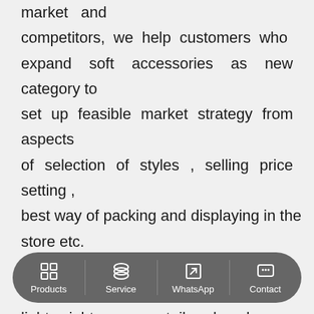market and competitors, we help customers who expand soft accessories as new category to set up feasible market strategy from aspects of selection of styles , selling price setting , best way of packing and displaying in the store etc. Scarves/shawls, cold weather knitted fabrics, lightweight scarves, tailored and sewn hats, fashionable bags and sunglasses are our
Products | Service | WhatsApp | Contact